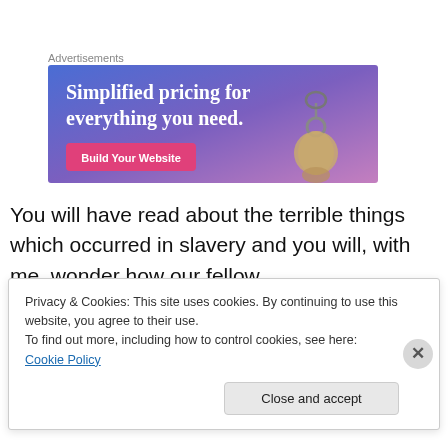Advertisements
[Figure (illustration): Advertisement banner with blue-to-purple gradient background, text 'Simplified pricing for everything you need.' and a pink 'Build Your Website' button, with a hand holding a keyring on the right side.]
You will have read about the terrible things which occurred in slavery and you will, with me, wonder how our fellow
Privacy & Cookies: This site uses cookies. By continuing to use this website, you agree to their use.
To find out more, including how to control cookies, see here: Cookie Policy
Close and accept